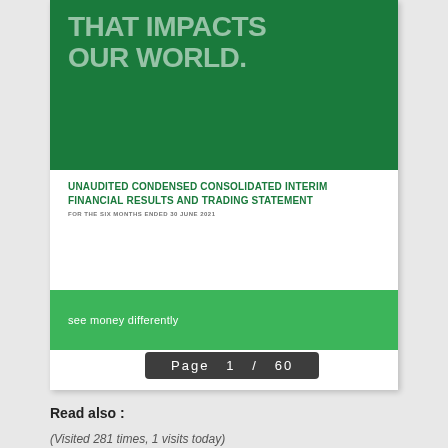[Figure (illustration): Partial title text on dark green background showing 'THAT IMPACTS OUR WORLD.' in large bold white/faded letters]
UNAUDITED CONDENSED CONSOLIDATED INTERIM FINANCIAL RESULTS AND TRADING STATEMENT
FOR THE SIX MONTHS ENDED 30 JUNE 2021
see money differently
Page  1  /  60
Strong performance in H1 2021
Read also :
(Visited 281 times, 1 visits today)